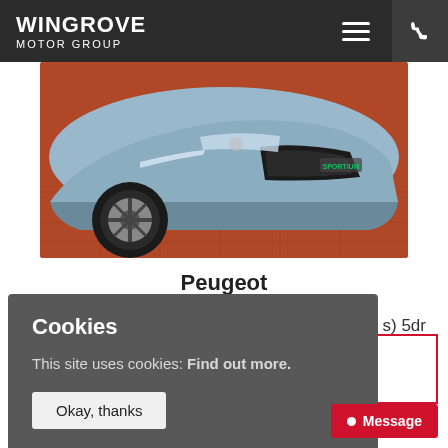WINGROVE MOTOR GROUP
[Figure (photo): Front view of a silver Peugeot car parked on terracotta tile floor, showing the front bumper, wheel, and grille.]
Peugeot
s) 5dr
Cookies
This site uses cookies: Find out more.
Okay, thanks
Message